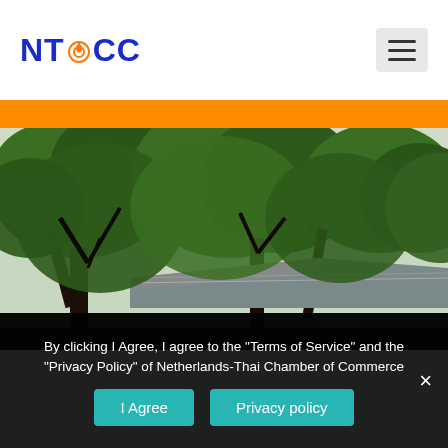[Figure (logo): NTOCC logo with stylized orange flame/target icon between NT and CC in blue text]
[Figure (photo): Photograph of trees with green foliage and a building roof structure visible in the background, outdoor scene]
By clicking I Agree, I agree to the "Terms of Service" and the "Privacy Policy" of Netherlands-Thai Chamber of Commerce
I Agree
Privacy policy